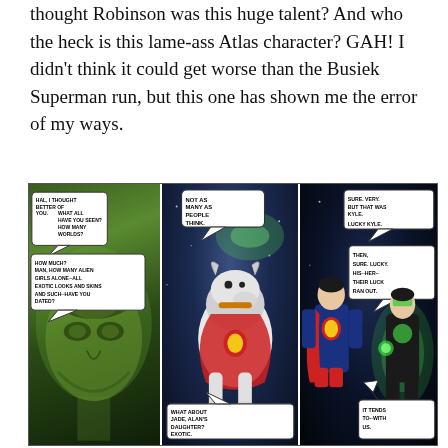thought Robinson was this huge talent? And who the heck is this lame-ass Atlas character? GAH! I didn't think it could get worse than the Busiek Superman run, but this one has shown me the error of my ways.
[Figure (illustration): Three-panel comic book page showing Green Lantern characters. Left panel: close-up of Hal Jordan's green-tinted face with speech bubbles about alien girls he has dated. Middle panel: Krypto the Superdog flying in space with Superman, speech bubble says 'Not as many as people think.' and 'What about Jade, Alan's daughter? Exotic.' Right panel: Superman and Kyle Rayner (Green Lantern) in space, with speech bubbles 'Sure. Very. But that was Kyle. Lucky Kyle.' and 'Then, sure. Lucky. His-her- their luck ran out.' and 'It tends to--with us.']